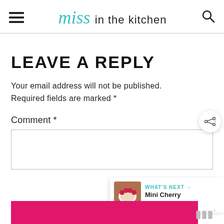Miss in the kitchen
LEAVE A REPLY
Your email address will not be published. Required fields are marked *
Comment *
WHAT'S NEXT → Mini Cherry Cheesecakes